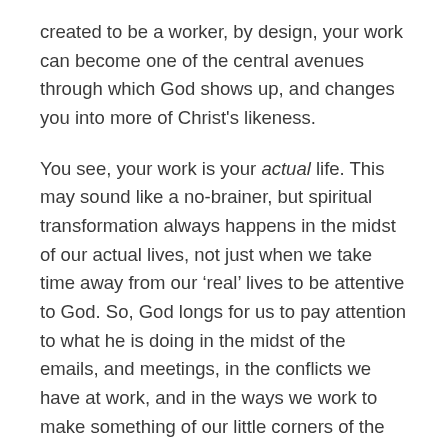created to be a worker, by design, your work can become one of the central avenues through which God shows up, and changes you into more of Christ's likeness.
You see, your work is your actual life. This may sound like a no-brainer, but spiritual transformation always happens in the midst of our actual lives, not just when we take time away from our 'real' lives to be attentive to God. So, God longs for us to pay attention to what he is doing in the midst of the emails, and meetings, in the conflicts we have at work, and in the ways we work to make something of our little corners of the world.
Historically, Christians have used spiritual